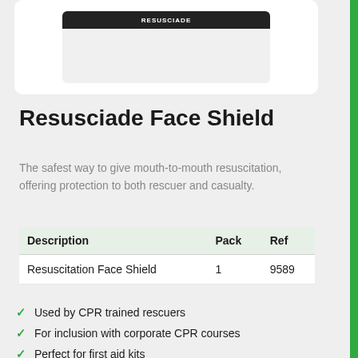[Figure (photo): Product image of Resusciade Face Shield in a white rounded card, showing a dark header bar at the top of the product packaging image]
Resusciade Face Shield
The safest way to give mouth-to-mouth resuscitation, offering protection to both rescuer and casualty.
| Description | Pack | Ref |
| --- | --- | --- |
| Resuscitation Face Shield | 1 | 9589 |
Used by CPR trained rescuers
For inclusion with corporate CPR courses
Perfect for first aid kits